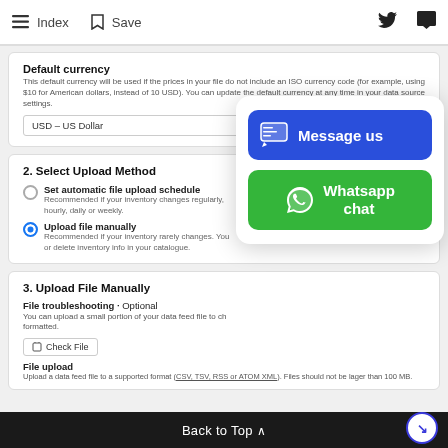Index  Save
Default currency
This default currency will be used if the prices in your file do not include an ISO currency code (for example, using $10 for American dollars, instead of 10 USD). You can update the default currency at any time in your data source settings.
USD – US Dollar
2. Select Upload Method
Set automatic file upload schedule
Recommended if your inventory changes regularly, hourly, daily or weekly.
Upload file manually
Recommended if your inventory rarely changes. You can add or delete inventory info in your catalogue.
3. Upload File Manually
File troubleshooting · Optional
You can upload a small portion of your data feed file to check if it is correctly formatted.
Check File
File upload
Upload a data feed file to a supported format (CSV, TSV, RSS or ATOM XML). Files should not be larger than 100 MB.
[Figure (screenshot): Overlay chat popup with two buttons: 'Message us' (blue) and 'Whatsapp chat' (green) with respective icons]
Back to Top ^